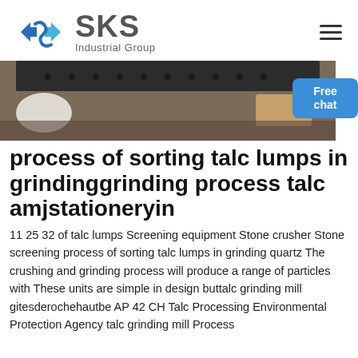[Figure (logo): SKS Industrial Group logo with blue diamond-S icon and gray SKS text]
[Figure (photo): Industrial grinding/screening equipment showing machinery parts on a surface]
process of sorting talc lumps in grindinggrinding process talc amjstationeryin
11 25 32 of talc lumps Screening equipment Stone crusher Stone screening process of sorting talc lumps in grinding quartz The crushing and grinding process will produce a range of particles with These units are simple in design buttalc grinding mill gitesderochehautbe AP 42 CH Talc Processing Environmental Protection Agency talc grinding mill Process